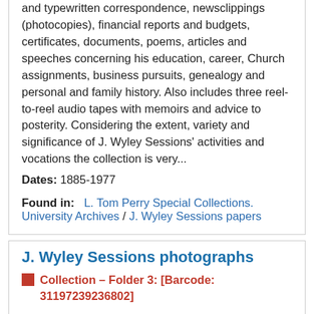and typewritten correspondence, newsclippings (photocopies), financial reports and budgets, certificates, documents, poems, articles and speeches concerning his education, career, Church assignments, business pursuits, genealogy and personal and family history. Also includes three reel-to-reel audio tapes with memoirs and advice to posterity. Considering the extent, variety and significance of J. Wyley Sessions' activities and vocations the collection is very...
Dates: 1885-1977
Found in: L. Tom Perry Special Collections. University Archives / J. Wyley Sessions papers
J. Wyley Sessions photographs
Collection – Folder 3: [Barcode: 31197239236802]
Identifier: UA 5410
Scope and Contents
Contains photographs of Sessions' family, his mission to South Africa and his activities with his institute of...